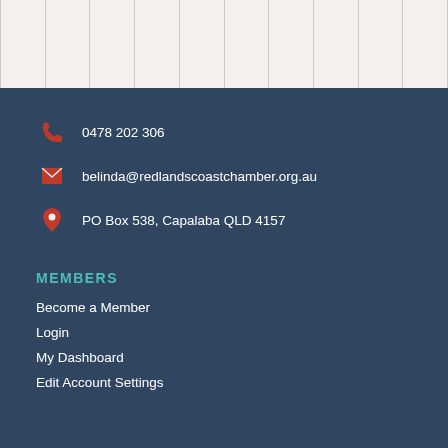[Figure (other): Grid of vertical columns on a light beige background forming a calendar or table top section]
0478 202 306
belinda@redlandscoastchamber.org.au
PO Box 538, Capalaba QLD 4157
MEMBERS
Become a Member
Login
My Dashboard
Edit Account Settings